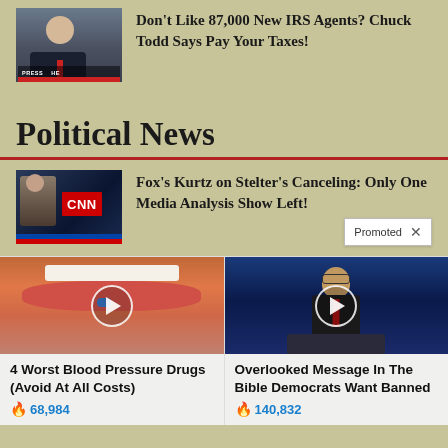[Figure (screenshot): TV news screenshot of Chuck Todd]
Don't Like 87,000 New IRS Agents? Chuck Todd Says Pay Your Taxes!
Political News
[Figure (screenshot): Fox News screenshot with CNN logo]
Fox's Kurtz on Stelter's Canceling: Only One Media Analysis Show Left!
Promoted
[Figure (photo): Close-up of mouth with pill on tongue, play button overlay]
4 Worst Blood Pressure Drugs (Avoid At All Costs)
68,984
[Figure (photo): Older man at podium, play button overlay]
Overlooked Message In The Bible Democrats Want Banned
140,832